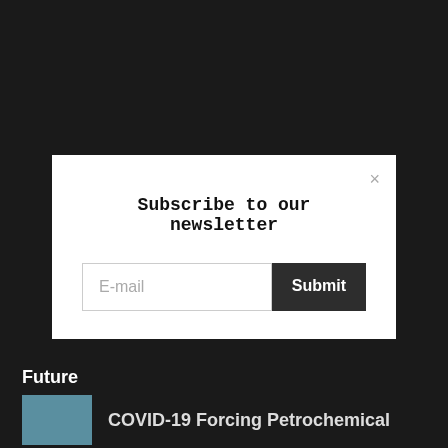Subscribe to our newsletter
E-mail
Submit
Future
COVID-19 Forcing Petrochemical